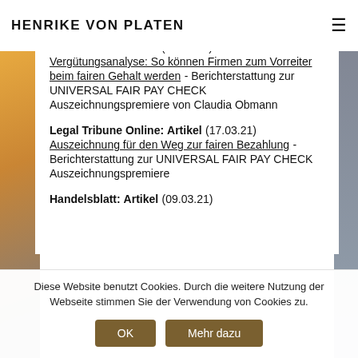HENRIKE VON PLATEN
Handelsblatt: Artikel (17.03.21) Vergütungsanalyse: So können Firmen zum Vorreiter beim fairen Gehalt werden - Berichterstattung zur UNIVERSAL FAIR PAY CHECK Auszeichnungspremiere von Claudia Obmann
Legal Tribune Online: Artikel (17.03.21) Auszeichnung für den Weg zur fairen Bezahlung - Berichterstattung zur UNIVERSAL FAIR PAY CHECK Auszeichnungspremiere
Handelsblatt: Artikel (09.03.21)
Diese Website benutzt Cookies. Durch die weitere Nutzung der Webseite stimmen Sie der Verwendung von Cookies zu.